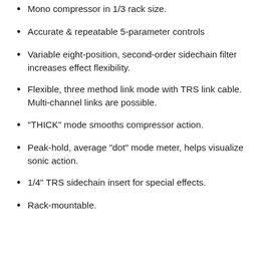Mono compressor in 1/3 rack size.
Accurate & repeatable 5-parameter controls
Variable eight-position, second-order sidechain filter increases effect flexibility.
Flexible, three method link mode with TRS link cable. Multi-channel links are possible.
"THICK" mode smooths compressor action.
Peak-hold, average "dot" mode meter, helps visualize sonic action.
1/4" TRS sidechain insert for special effects.
Rack-mountable.